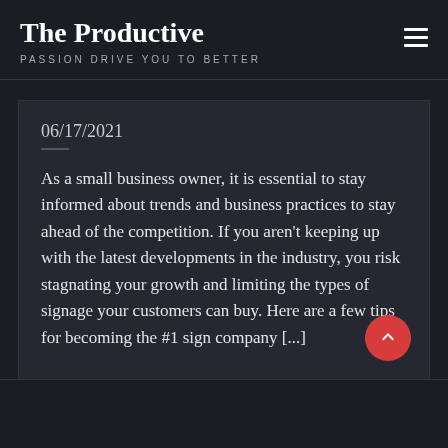The Productive
PASSION DRIVE YOU TO BETTER
06/17/2021
As a small business owner, it is essential to stay informed about trends and business practices to stay ahead of the competition. If you aren't keeping up with the latest developments in the industry, you risk stagnating your growth and limiting the types of signage your customers can buy. Here are a few tips for becoming the #1 sign company [...]